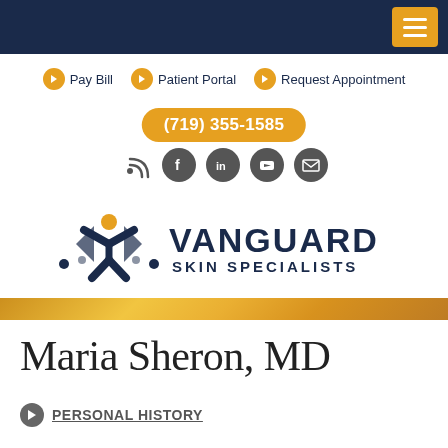Vanguard Skin Specialists - navigation header with menu button
Pay Bill   Patient Portal   Request Appointment
(719) 355-1585
[Figure (logo): Vanguard Skin Specialists logo with decorative figure and navy/gold color scheme]
Maria Sheron, MD
PERSONAL HISTORY